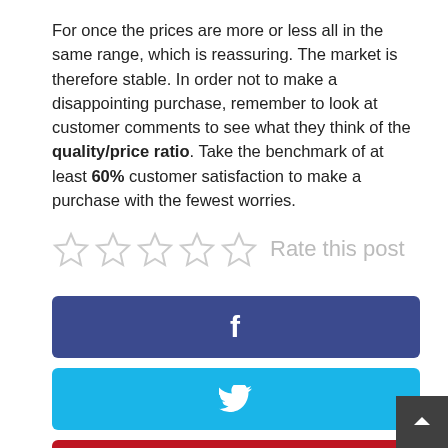For once the prices are more or less all in the same range, which is reassuring. The market is therefore stable. In order not to make a disappointing purchase, remember to look at customer comments to see what they think of the quality/price ratio. Take the benchmark of at least 60% customer satisfaction to make a purchase with the fewest worries.
Rate this post
[Figure (other): Facebook share button (dark blue) with 'f' icon]
[Figure (other): Twitter share button (light blue) with bird icon]
[Figure (other): Pinterest share button (red) with 'p' icon]
[Figure (other): LinkedIn share button (medium blue) with 'in' icon]